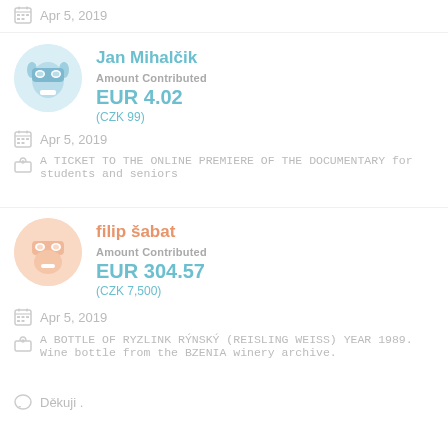Apr 5, 2019
Jan Mihalčik
Amount Contributed
EUR 4.02
(CZK 99)
Apr 5, 2019
A TICKET TO THE ONLINE PREMIERE OF THE DOCUMENTARY for students and seniors
filip šabat
Amount Contributed
EUR 304.57
(CZK 7,500)
Apr 5, 2019
A BOTTLE OF RYZLINK RÝNSKÝ (REISLING WEISS) YEAR 1989. Wine bottle from the BZENIA winery archive.
Děkuji .